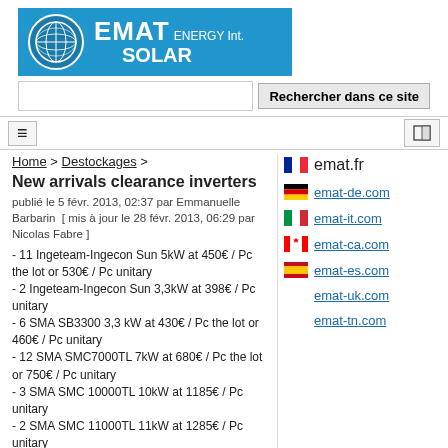[Figure (logo): EMAT ENERGY Int. SOLAR logo with globe on blue background]
[Figure (screenshot): Search bar with text input and button labeled 'Rechercher dans ce site']
[Figure (screenshot): Navigation bar with hamburger menu and icon button]
Home > Destockages >
New arrivals clearance inverters
publié le 5 févr. 2013, 02:37 par Emmanuelle Barbarin  [ mis à jour le 28 févr. 2013, 06:29 par Nicolas Fabre ]
- 11 Ingeteam-Ingecon Sun 5kW at 450€ / Pc the lot or 530€ / Pc unitary
- 2 Ingeteam-Ingecon Sun 3,3kW at 398€ / Pc unitary
- 6 SMA SB3300 3,3 kW at 430€ / Pc the lot or 460€ / Pc unitary
- 12 SMA SMC7000TL 7kW at 680€ / Pc the lot or 750€ / Pc unitary
- 3 SMA SMC 10000TL 10kW at 1185€ / Pc unitary
- 2 SMA SMC 11000TL 11kW at 1285€ / Pc unitary
- 324 SLK 2.8i at 190€ / Pc the lot or 210€ / Pc by 50 pcs or 255€ / Pc by 20 pcs
- 50 SLK 3.3 Ni at 230€ / Pc the lot or 285€ / Pc by 20 Pcs
- 97 SLK 4.6Ni at 398€ / Pc the lot or 425€ / Pc by 50
emat.fr
emat-de.com
emat-it.com
emat-ca.com
emat-es.com
emat-uk.com
emat-tn.com